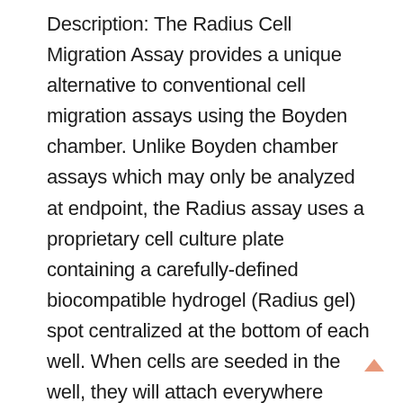Description: The Radius Cell Migration Assay provides a unique alternative to conventional cell migration assays using the Boyden chamber. Unlike Boyden chamber assays which may only be analyzed at endpoint, the Radius assay uses a proprietary cell culture plate containing a carefully-defined biocompatible hydrogel (Radius gel) spot centralized at the bottom of each well. When cells are seeded in the well, they will attach everywhere except on the Radius gel, creating a cell-free zone. Following cell seeding the Radius gel is removed, allowing